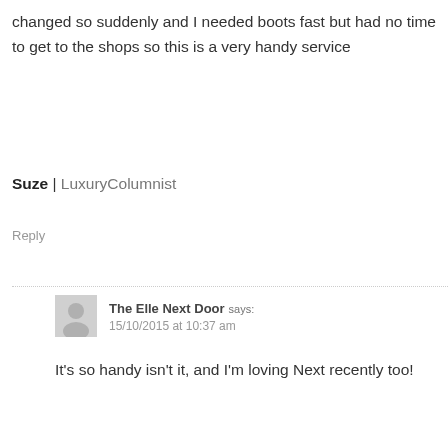changed so suddenly and I needed boots fast but had no time to get to the shops so this is a very handy service
Suze | LuxuryColumnist
Reply
The Elle Next Door says: 15/10/2015 at 10:37 am
It's so handy isn't it, and I'm loving Next recently too!
xx